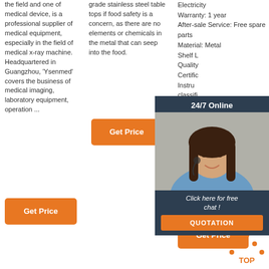the field and one of medical device, is a professional supplier of medical equipment, especially in the field of medical x-ray machine. Headquartered in Guangzhou, 'Ysenmed' covers the business of medical imaging, laboratory equipment, operation ...
grade stainless steel table tops if food safety is a concern, as there are no elements or chemicals in the metal that can seep into the food.
Electricity Warranty: 1 year After-sale Service: Free spare parts Material: Metal Shelf L... Quality Certific... Instru... classifi... Class I... is light... an eas... maneu... Advan... mobile... easy to install Color: white
[Figure (photo): Customer service representative with headset, shown in a 24/7 Online chat overlay panel with dark background]
Click here for free chat !
QUOTATION
[Figure (other): TOP button with orange dots forming triangle shape]